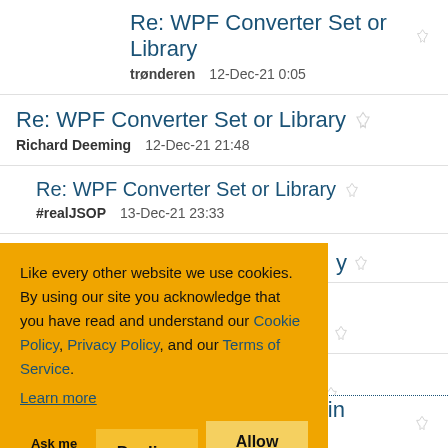Re: WPF Converter Set or Library
trønderen   12-Dec-21 0:05
Re: WPF Converter Set or Library
Richard Deeming   12-Dec-21 21:48
Re: WPF Converter Set or Library
#realJSOP   13-Dec-21 23:33
[Figure (screenshot): Cookie consent banner with orange background. Text: 'Like every other website we use cookies. By using our site you acknowledge that you have read and understand our Cookie Policy, Privacy Policy, and our Terms of Service. Learn more'. Buttons: 'Ask me later', 'Decline', 'Allow cookies'.]
ListBox selection through code, in MVVM